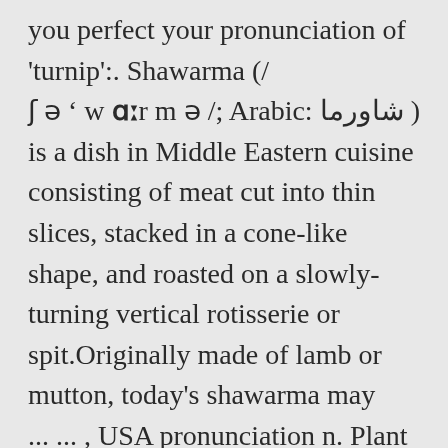you perfect your pronunciation of 'turnip':. Shawarma (/ʃəˈwɑːr m ə /; Arabic: شاورما ) is a dish in Middle Eastern cuisine consisting of meat cut into thin slices, stacked in a cone-like shape, and roasted on a slowly-turning vertical rotisserie or spit.Originally made of lamb or mutton, today's shawarma may ... ... , USA pronunciation n. Plant Biology the thick, fleshy, edible root of either of two plants of the mustard family, the white-fleshed Brassica rapa rapifera or the yellow-fleshed rutabaga. This is the British English definition of turnip.View American English definition of turnip. Change your default dictionary to American English. Definition and synonyms of turnip from the online English dictionary from Macmillan